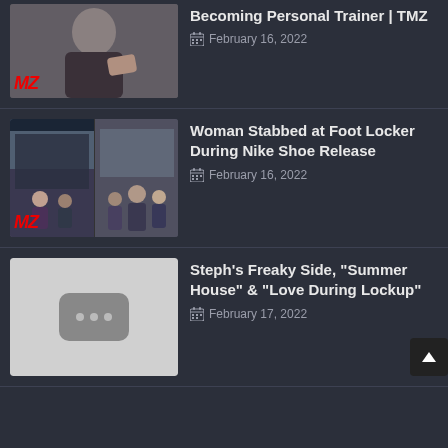[Figure (screenshot): TMZ thumbnail showing a man in a dark shirt, partial TMZ logo visible in red]
Becoming Personal Trainer | TMZ
February 16, 2022
[Figure (screenshot): TMZ thumbnail showing fight scene outside Foot Locker store, split image, TMZ logo visible]
Woman Stabbed at Foot Locker During Nike Shoe Release
February 16, 2022
[Figure (screenshot): YouTube placeholder thumbnail with grey background and three dots icon]
Steph's Freaky Side, "Summer House" & "Love During Lockup"
February 17, 2022